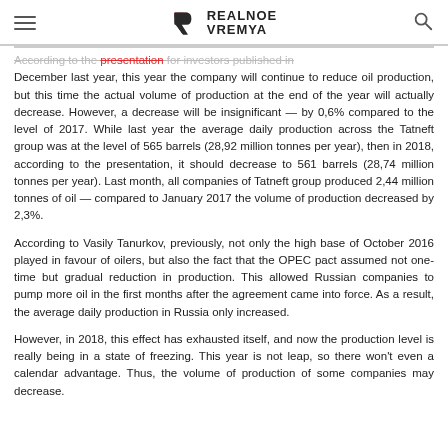REALNOE VREMYA
According to the presentation for investors published in December last year, this year the company will continue to reduce oil production, but this time the actual volume of production at the end of the year will actually decrease. However, a decrease will be insignificant — by 0,6% compared to the level of 2017. While last year the average daily production across the Tatneft group was at the level of 565 barrels (28,92 million tonnes per year), then in 2018, according to the presentation, it should decrease to 561 barrels (28,74 million tonnes per year). Last month, all companies of Tatneft group produced 2,44 million tonnes of oil — compared to January 2017 the volume of production decreased by 2,3%.
According to Vasily Tanurkov, previously, not only the high base of October 2016 played in favour of oilers, but also the fact that the OPEC pact assumed not one-time but gradual reduction in production. This allowed Russian companies to pump more oil in the first months after the agreement came into force. As a result, the average daily production in Russia only increased.
However, in 2018, this effect has exhausted itself, and now the production level is really being in a state of freezing. This year is not leap, so there won't even a calendar advantage. Thus, the volume of production of some companies may decrease.